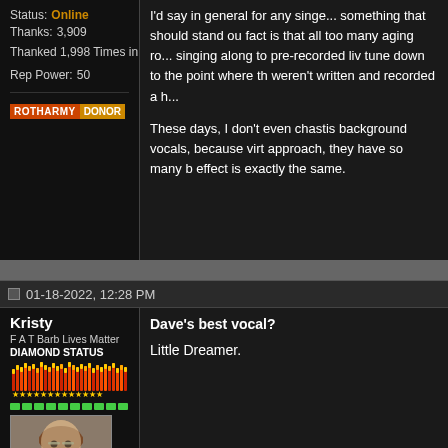Status: Online
Thanks: 3,909
Thanked 1,998 Times in 1,299 Posts
Rep Power: 50
[Figure (other): ROTHARMY DONOR badge with orange and gold colors]
I'd say in general for any singer... something that should stand out... fact is that all too many aging ro... singing along to pre-recorded li... tune down to the point where th... weren't written and recorded a h...
These days, I don't even chasti... background vocals, because vi... approach, they have so many b... effect is exactly the same.
01-18-2022, 12:28 PM
Kristy
F A T Barb Lives Matter
DIAMOND STATUS
[Figure (illustration): Flame/fire graphic with stars below - forum rank indicator]
[Figure (photo): Avatar photo of a woman with glasses and curly brown hair]
Dave's best vocal?
Little Dreamer.